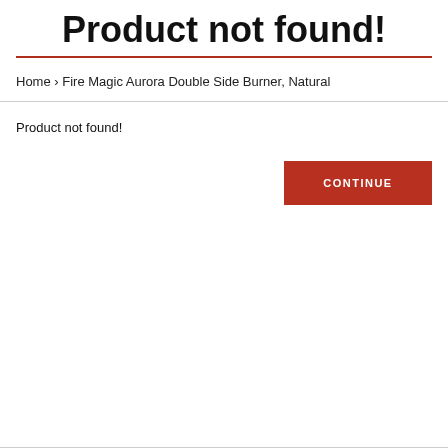Product not found!
Home › Fire Magic Aurora Double Side Burner, Natural
Product not found!
CONTINUE